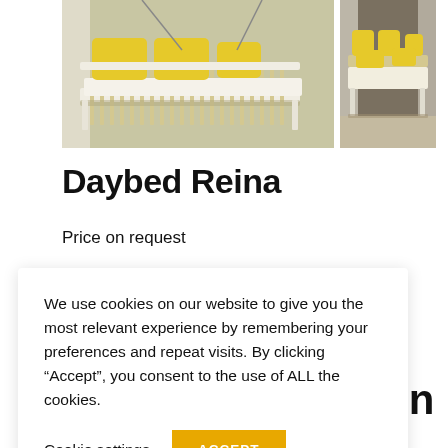[Figure (photo): Two product photos of the Daybed Reina outdoor furniture: left shows a white-framed daybed with yellow cushions hanging outdoors; right shows the same daybed from a different angle with yellow pillows]
Daybed Reina
Price on request
We use cookies on our website to give you the most relevant experience by remembering your preferences and repeat visits. By clicking “Accept”, you consent to the use of ALL the cookies.
Cookie settings
ACCEPT
ation
New 2023 dining daybed. Incredible design of a